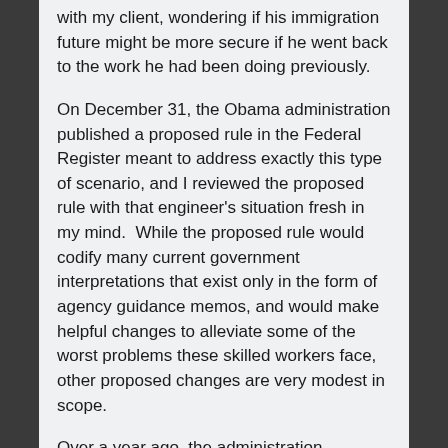with my client, wondering if his immigration future might be more secure if he went back to the work he had been doing previously.
On December 31, the Obama administration published a proposed rule in the Federal Register meant to address exactly this type of scenario, and I reviewed the proposed rule with that engineer's situation fresh in my mind.  While the proposed rule would codify many current government interpretations that exist only in the form of agency guidance memos, and would make helpful changes to alleviate some of the worst problems these skilled workers face, other proposed changes are very modest in scope.
Over a year ago, the administration promised to “modernize” the employment based immigration system to the extent possible within the boundaries of the current statute.  One of the